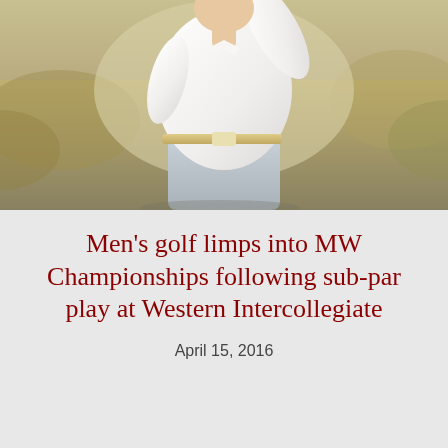[Figure (photo): A golfer in a white shirt and light blue pants with a white belt, mid-swing, photographed against a natural outdoor background with blurred golden grass and foliage.]
Men's golf limps into MW Championships following sub-par play at Western Intercollegiate
April 15, 2016